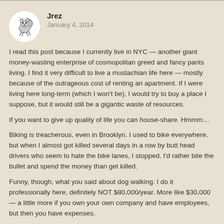[Figure (illustration): Circular avatar image showing a hand-drawn illustration of a squirrel or chipmunk on a white circular background]
Jrez
January 4, 2014
I read this post because I currently live in NYC — another giant money-wasting enterprise of cosmopolitan greed and fancy pants living. I find it very difficult to live a mustachian life here — mostly because of the outrageous cost of renting an apartment. If I were living here long-term (which I won't be), I would try to buy a place I suppose, but it would still be a gigantic waste of resources.
If you want to give up quality of life you can house-share. Hmmm…
Biking is treacherous, even in Brooklyn. I used to bike everywhere, but when I almost got killed several days in a row by butt head drivers who seem to hate the bike lanes, I stopped. I'd rather bite the bullet and spend the money than get killed.
Funny, though, what you said about dog walking. I do it professionally here, definitely NOT $80,000/year. More like $30,000 — a little more if you own your own company and have employees, but then you have expenses.